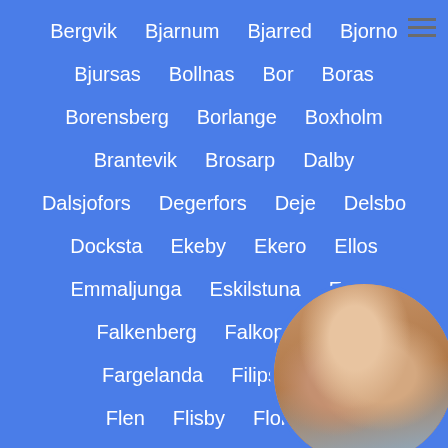Bergvik  Bjarnum  Bjarred  Bjorno
Bjursas  Bollnas  Bor  Boras
Borensberg  Borlange  Boxholm
Brantevik  Brosarp  Dalby
Dalsjofors  Degerfors  Deje  Delsbo
Docksta  Ekeby  Ekero  Ellos
Emmaljunga  Eskilstuna  Eslov
Falkenberg  Falkoping  F...
Fargelanda  Filipstad  F...
Flen  Flisby  Floby  F...
[Figure (photo): Circular cropped photo of a person in bottom-right corner, partially obscuring text]